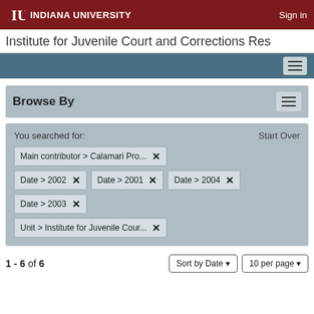INDIANA UNIVERSITY   Sign in
Institute for Juvenile Court and Corrections Res...
Browse By
You searched for:
Start Over
Main contributor > Calamari Pro... ×
Date > 2002 ×   Date > 2001 ×   Date > 2004 ×
Date > 2003 ×
Unit > Institute for Juvenile Cour... ×
1 - 6 of 6
Sort by Date ▼   10 per page ▼